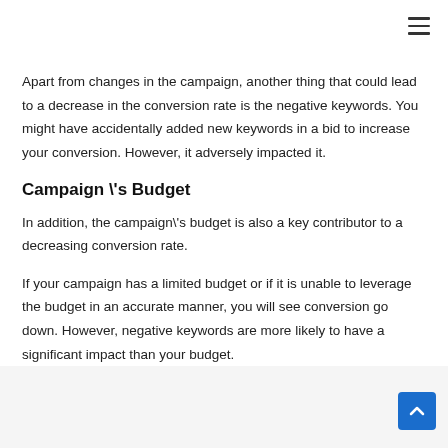Apart from changes in the campaign, another thing that could lead to a decrease in the conversion rate is the negative keywords. You might have accidentally added new keywords in a bid to increase your conversion. However, it adversely impacted it.
Campaign \'s Budget
In addition, the campaign\'s budget is also a key contributor to a decreasing conversion rate.
If your campaign has a limited budget or if it is unable to leverage the budget in an accurate manner, you will see conversion go down. However, negative keywords are more likely to have a significant impact than your budget.